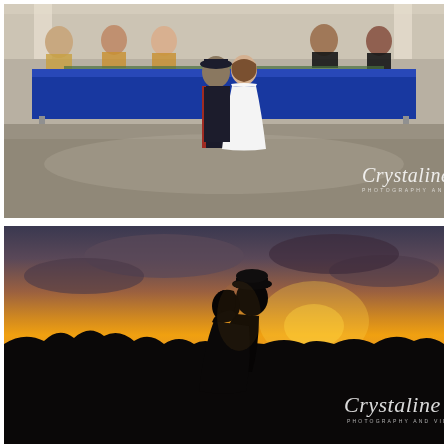[Figure (photo): Indoor wedding reception first dance photo. A couple in military uniform and white wedding dress dance on a polished concrete floor in front of a long head table draped in navy blue linen, with wedding party guests seated behind. Stone wall backdrop. Crystaline Photography watermark in script at bottom right.]
[Figure (photo): Outdoor sunset silhouette photo of a couple kissing. The groom wears a military dress white cap. They are silhouetted against a dramatic orange and yellow sunset sky with dark treeline at the horizon. Crystaline Photography watermark in script at bottom right.]